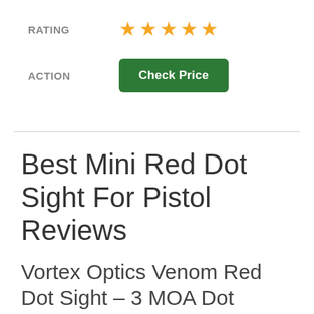| RATING | ACTION |
| --- | --- |
| ★★★★★ | Check Price |
Best Mini Red Dot Sight For Pistol Reviews
Vortex Optics Venom Red Dot Sight – 3 MOA Dot
Highlighted Features: